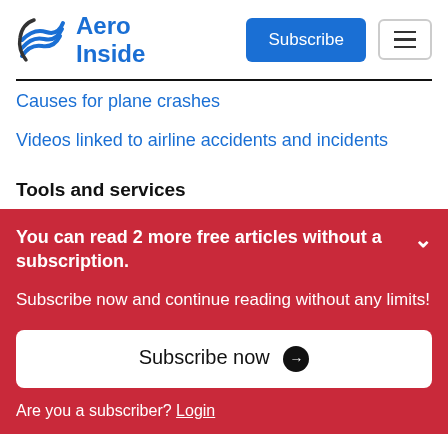Aero Inside
Causes for plane crashes
Videos linked to airline accidents and incidents
Tools and services
You can read 2 more free articles without a subscription.
Subscribe now and continue reading without any limits!
Are you a subscriber? Login